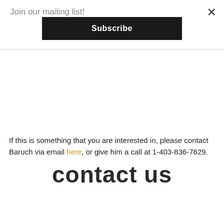Join our mailing list!
Subscribe
If this is something that you are interested in, please contact Baruch via email here, or give him a call at 1-403-836-7629.
contact us